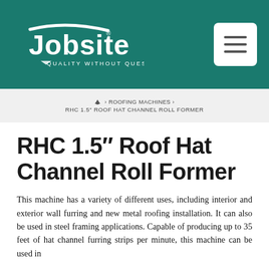[Figure (logo): Jobsite logo with text 'QUALITY WITHOUT QUESTION' on teal background with hamburger menu icon]
🏠 › ROOFING MACHINES › RHC 1.5″ ROOF HAT CHANNEL ROLL FORMER
RHC 1.5″ Roof Hat Channel Roll Former
This machine has a variety of different uses, including interior and exterior wall furring and new metal roofing installation. It can also be used in steel framing applications. Capable of producing up to 35 feet of hat channel furring strips per minute, this machine can be used in